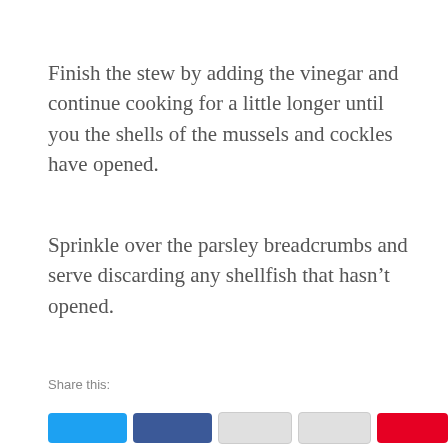Finish the stew by adding the vinegar and continue cooking for a little longer until you the shells of the mussels and cockles have opened.
Sprinkle over the parsley breadcrumbs and serve discarding any shellfish that hasn’t opened.
Share this:
[Figure (other): Social sharing buttons: Twitter (blue), Facebook (dark blue), Email (grey), Print (grey), Pinterest (red)]